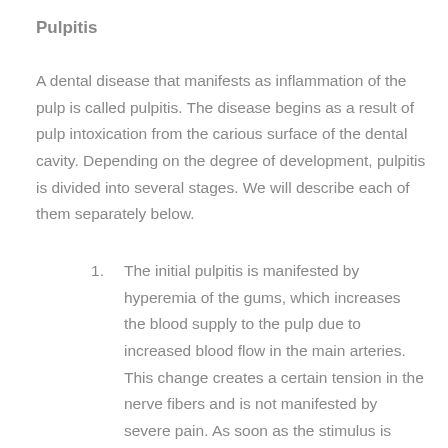Pulpitis
A dental disease that manifests as inflammation of the pulp is called pulpitis. The disease begins as a result of pulp intoxication from the carious surface of the dental cavity. Depending on the degree of development, pulpitis is divided into several stages. We will describe each of them separately below.
1. The initial pulpitis is manifested by hyperemia of the gums, which increases the blood supply to the pulp due to increased blood flow in the main arteries. This change creates a certain tension in the nerve fibers and is not manifested by severe pain. As soon as the stimulus is removed, the pain subsides within 1-2 minutes.